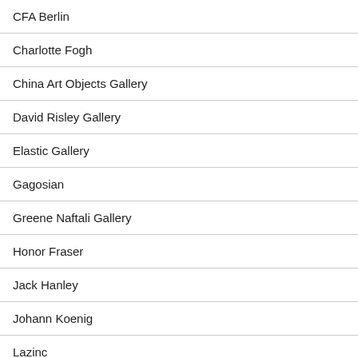CFA Berlin
Charlotte Fogh
China Art Objects Gallery
David Risley Gallery
Elastic Gallery
Gagosian
Greene Naftali Gallery
Honor Fraser
Jack Hanley
Johann Koenig
Lazinc